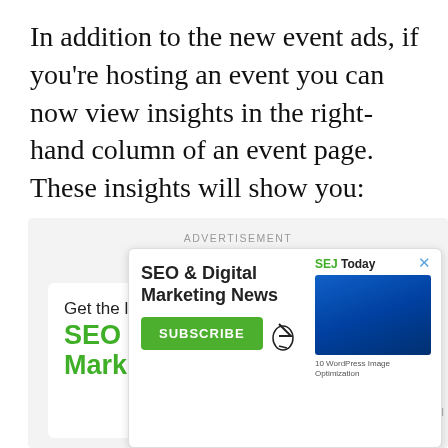In addition to the new event ads, if you're hosting an event you can now view insights in the right-hand column of an event page. These insights will show you:
[Figure (screenshot): Advertisement block showing SEJ (Search Engine Journal) newsletter signup ad with 'Get the latest SEO & Digital Marketing' text in green, a phone mockup showing SEJ Today, and a popup overlay for SEO & Digital Marketing News with a Subscribe button and SEJ Today preview image.]